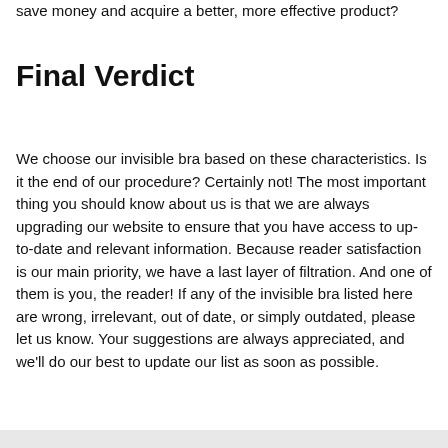save money and acquire a better, more effective product?
Final Verdict
We choose our invisible bra based on these characteristics. Is it the end of our procedure? Certainly not! The most important thing you should know about us is that we are always upgrading our website to ensure that you have access to up-to-date and relevant information. Because reader satisfaction is our main priority, we have a last layer of filtration. And one of them is you, the reader! If any of the invisible bra listed here are wrong, irrelevant, out of date, or simply outdated, please let us know. Your suggestions are always appreciated, and we'll do our best to update our list as soon as possible.